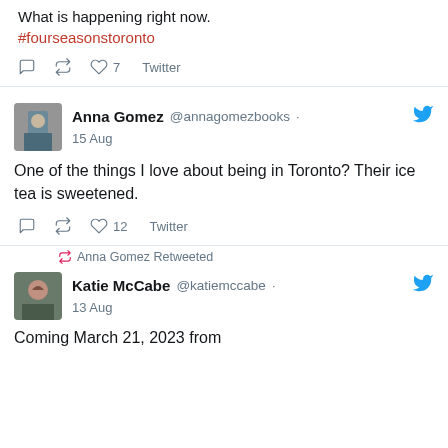What is happening right now. #fourseasonstoronto
♡ 7   Twitter
Anna Gomez @annagomezbooks · 15 Aug
One of the things I love about being in Toronto? Their ice tea is sweetened.
♡ 12   Twitter
Anna Gomez Retweeted
Katie McCabe @katiemccabe · 13 Aug
Coming March 21, 2023 from